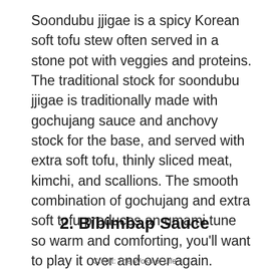Soondubu jjigae is a spicy Korean soft tofu stew often served in a stone pot with veggies and proteins. The traditional stock for soondubu jjigae is traditionally made with gochujang sauce and anchovy stock for the base, and served with extra soft tofu, thinly sliced meat, kimchi, and scallions. The smooth combination of gochujang and extra soft tofu produces an umami tune so warm and comforting, you'll want to play it over and over again.
2. Bibimbap Sauce
Credit: The Woks of Life